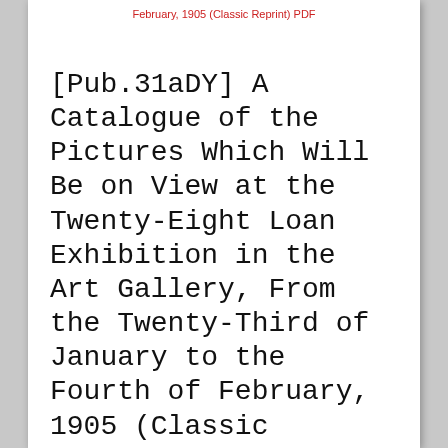February, 1905 (Classic Reprint) PDF
[Pub.31aDY] A Catalogue of the Pictures Which Will Be on View at the Twenty-Eight Loan Exhibition in the Art Gallery, From the Twenty-Third of January to the Fourth of February, 1905 (Classic Reprint) PDF | by Art Association of Montreal